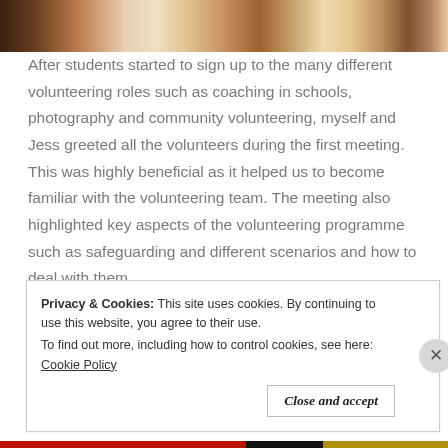[Figure (photo): Partial view of a photo showing people standing, cropped at the top of the page]
After students started to sign up to the many different volunteering roles such as coaching in schools, photography and community volunteering, myself and Jess greeted all the volunteers during the first meeting. This was highly beneficial as it helped us to become familiar with the volunteering team. The meeting also highlighted key aspects of the volunteering programme such as safeguarding and different scenarios and how to deal with them.
Privacy & Cookies: This site uses cookies. By continuing to use this website, you agree to their use.
To find out more, including how to control cookies, see here: Cookie Policy
Close and accept